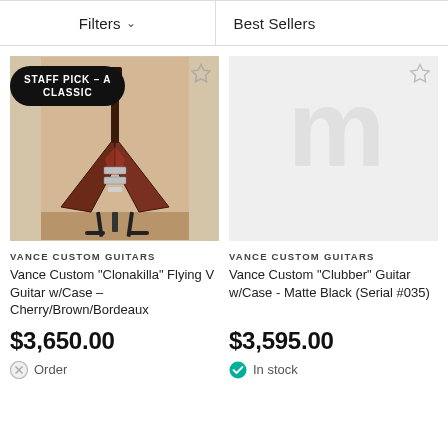Filters ∨   Best Sellers
[Figure (photo): Flying V style electric guitar in cherry/brown/bordeaux finish, on a stand, with a 'Staff Pick - A Classic' badge overlay]
VANCE CUSTOM GUITARS
Vance Custom "Clonakilla" Flying V Guitar w/Case - Cherry/Brown/Bordeaux
$3,650.00
Order
[Figure (logo): Placeholder image with a faded logo/watermark for Vance Custom Guitars]
VANCE CUSTOM GUITARS
Vance Custom "Clubber" Guitar w/Case - Matte Black (Serial #035)
$3,595.00
In stock